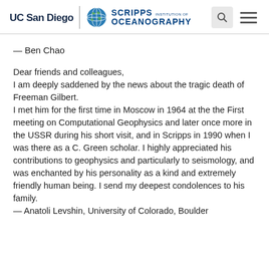UC San Diego | Scripps Institution of Oceanography
— Ben Chao
Dear friends and colleagues,
I am deeply saddened by the news about the tragic death of Freeman Gilbert.
I met him for the first time in Moscow in 1964 at the the First meeting on Computational Geophysics and later once more in the USSR during his short visit, and in Scripps in 1990 when I was there as a C. Green scholar. I highly appreciated his contributions to geophysics and particularly to seismology, and was enchanted by his personality as a kind and extremely friendly human being. I send my deepest condolences to his family.
— Anatoli Levshin, University of Colorado, Boulder